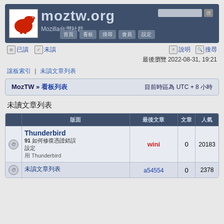[Figure (screenshot): moztw.org Mozilla Taiwan community website header banner with dinosaur logo]
已讀 未讀 說明 進階搜尋 搜尋
最後瀏覽 2022-08-31, 19:21
看板索引 | 未讀文章列表
MozTW » 看板列表  目前時區為 UTC + 8 小時
未讀文章列表
|  | 版面 | 最後文章 | 文章 | 人氣 |
| --- | --- | --- | --- | --- |
|  | Thunderbird 91 如何修復憑證錯誤
用 Thunderbird | wini | 0 | 20183 |
|  | 未讀文章列表 | a54554 | 0 | 2378 |